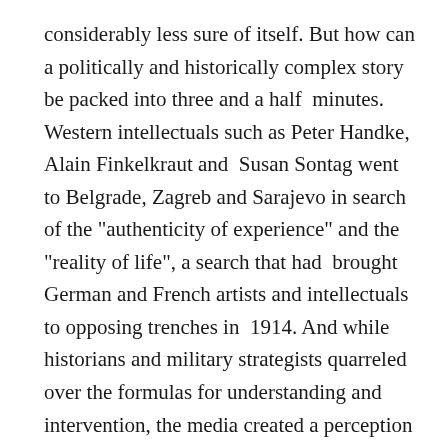considerably less sure of itself. But how can a politically and historically complex story be packed into three and a half  minutes. Western intellectuals such as Peter Handke, Alain Finkelkraut and  Susan Sontag went to Belgrade, Zagreb and Sarajevo in search of the "authenticity of experience" and the "reality of life", a search that had  brought German and French artists and intellectuals to opposing trenches in  1914. And while historians and military strategists quarreled over the formulas for understanding and intervention, the media created a perception  of a downward trend which would demand action. But the media achieved the  opposite and the reports on the war in the Balkans led to paralysis in  western observers instead of the will to intervene. The media triumph of  1989, when the media